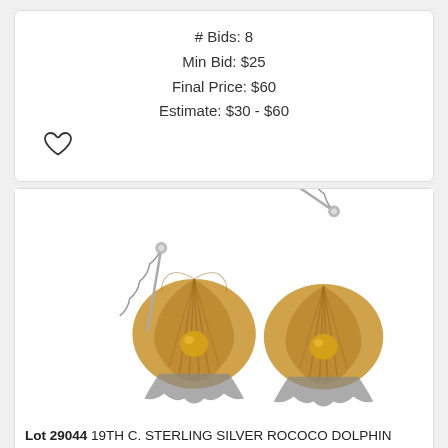# Bids: 8
Min Bid: $25
Final Price: $60
Estimate: $30 - $60
[Figure (illustration): Heart/favorite icon (outline heart shape)]
[Figure (photo): Two 19th century sterling silver rococo dolphin salt cellars with spoons, shell-shaped bowls with gold-washed interiors and ornate dolphin feet]
Lot 29044 19TH C. STERLING SILVER ROCOCO DOLPHIN SALT CELLARS